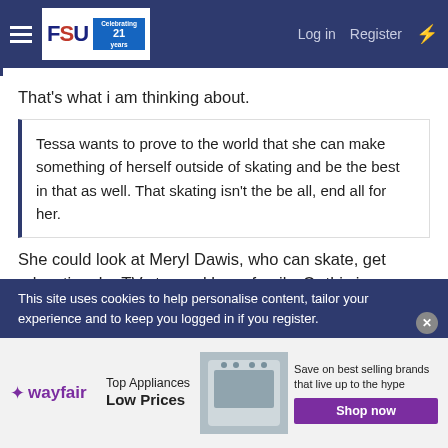FSU | Log in | Register
That's what i am thinking about.
Tessa wants to prove to the world that she can make something of herself outside of skating and be the best in that as well. That skating isn't the be all, end all for her.
She could look at Meryl Dawis, who can skate, get education, be TV star and have family. Or this is because Charlie is good, but Scott didn't let her doing anything?
She's not wrong.
Why se couldn't talk about this and didn't let her patner down?
This site uses cookies to help personalise content, tailor your experience and to keep you logged in if you register.
[Figure (infographic): Wayfair advertisement: Top Appliances Low Prices, with appliance image and Shop now button]